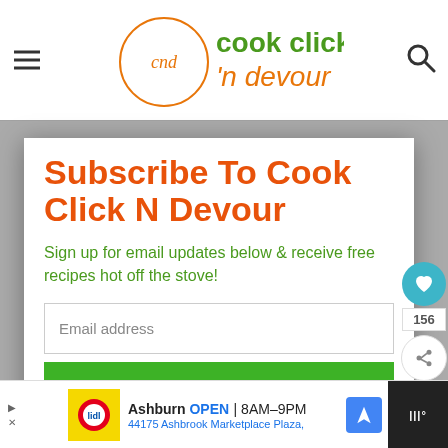cook click 'n devour — website header with logo
Subscribe To Cook Click N Devour
Sign up for email updates below & receive free recipes hot off the stove!
Email address
Subscribe
156
Ashburn OPEN | 8AM–9PM 44175 Ashbrook Marketplace Plaza,